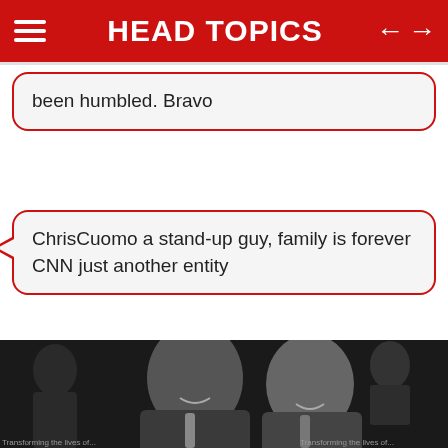HEAD TOPICS
been humbled. Bravo
ChrisCuomo a stand-up guy, family is forever CNN just another entity
[Figure (photo): Black and white photo of two men in suits smiling, posed together at what appears to be an event]